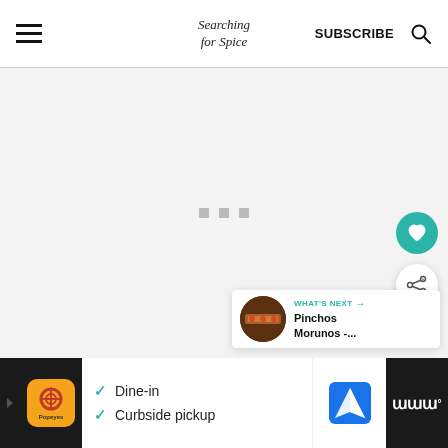Searching for Spice | SUBSCRIBE
[Figure (screenshot): Loading spinner with three grey square dots on light grey background]
[Figure (screenshot): Teal circular heart/favourite button floating on right side]
[Figure (screenshot): White circular share button floating on right side]
[Figure (screenshot): What's Next card showing Pinchos Morunos article thumbnail and title]
[Figure (screenshot): Advertisement banner showing Dine-in and Curbside pickup options with logo]